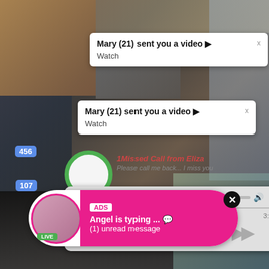[Figure (screenshot): Collage of blurred video thumbnails in background]
Mary (21) sent you a video ▶
Watch
Mary (21) sent you a video ▶
Watch
1Missed Call from Eliza
Please call me back... I miss you
0:00
3:23
456
ADS
Angel is typing ... 💬
(1) unread message
LIVE
107